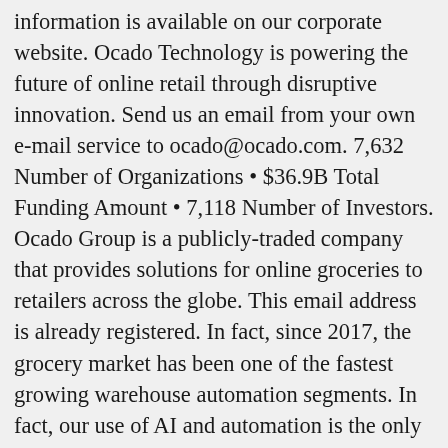information is available on our corporate website. Ocado Technology is powering the future of online retail through disruptive innovation. Send us an email from your own e-mail service to ocado@ocado.com. 7,632 Number of Organizations • $36.9B Total Funding Amount • 7,118 Number of Investors. Ocado Group is a publicly-traded company that provides solutions for online groceries to retailers across the globe. This email address is already registered. In fact, since 2017, the grocery market has been one of the fastest growing warehouse automation segments. In fact, our use of AI and automation is the only proven way to deliver online groceries scalably, sustainably and profitably. Church Manorway, Belvedere, Erith DA8 1DL Test was quite easy, 3 algorithm to be solved in Java in 120 minutes. After using the free version of Slack for 6 months, Ocado Technology transitioned to the Slack Standard plan and made it available across the